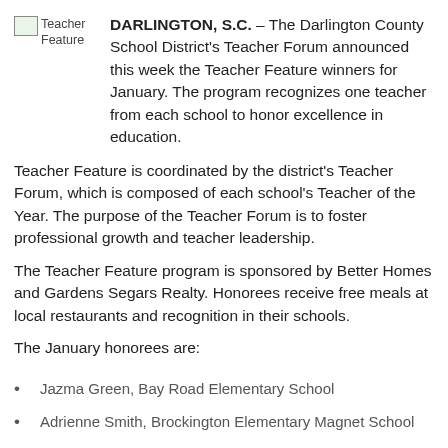[Figure (illustration): Teacher Feature image placeholder with green icon and label text 'Teacher Feature']
DARLINGTON, S.C. – The Darlington County School District's Teacher Forum announced this week the Teacher Feature winners for January. The program recognizes one teacher from each school to honor excellence in education.
Teacher Feature is coordinated by the district's Teacher Forum, which is composed of each school's Teacher of the Year. The purpose of the Teacher Forum is to foster professional growth and teacher leadership.
The Teacher Feature program is sponsored by Better Homes and Gardens Segars Realty. Honorees receive free meals at local restaurants and recognition in their schools.
The January honorees are:
Jazma Green, Bay Road Elementary School
Adrienne Smith, Brockington Elementary Magnet School